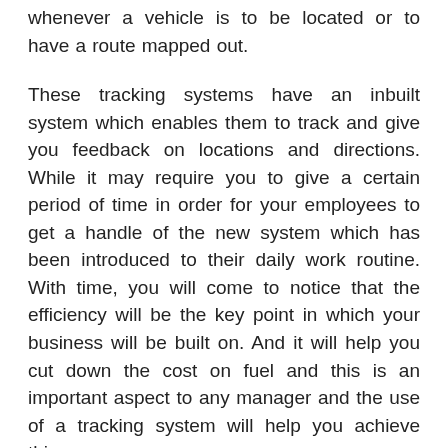whenever a vehicle is to be located or to have a route mapped out.
These tracking systems have an inbuilt system which enables them to track and give you feedback on locations and directions. While it may require you to give a certain period of time in order for your employees to get a handle of the new system which has been introduced to their daily work routine. With time, you will come to notice that the efficiency will be the key point in which your business will be built on. And it will help you cut down the cost on fuel and this is an important aspect to any manager and the use of a tracking system will help you achieve this.
In general, you get several types of system but the most common main three types of vehicle tracking